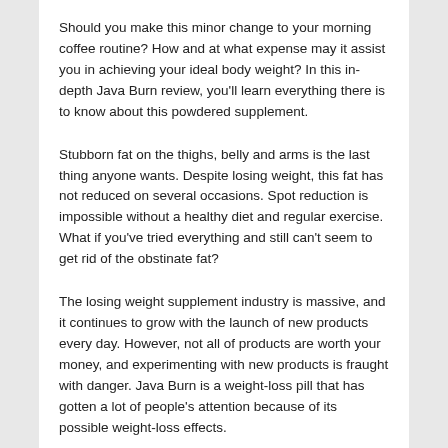Should you make this minor change to your morning coffee routine? How and at what expense may it assist you in achieving your ideal body weight? In this in-depth Java Burn review, you'll learn everything there is to know about this powdered supplement.
Stubborn fat on the thighs, belly and arms is the last thing anyone wants. Despite losing weight, this fat has not reduced on several occasions. Spot reduction is impossible without a healthy diet and regular exercise. What if you've tried everything and still can't seem to get rid of the obstinate fat?
The losing weight supplement industry is massive, and it continues to grow with the launch of new products every day. However, not all of products are worth your money, and experimenting with new products is fraught with danger. Java Burn is a weight-loss pill that has gotten a lot of people's attention because of its possible weight-loss effects.